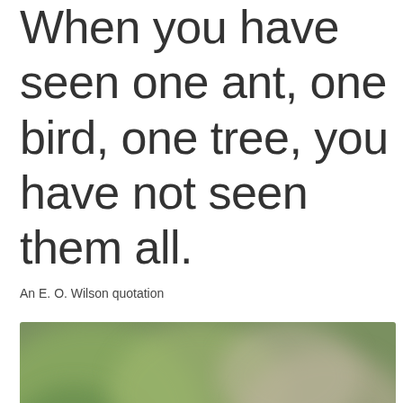When you have seen one ant, one bird, one tree, you have not seen them all.
An E. O. Wilson quotation
[Figure (photo): Close-up photograph of a small yellow-green bird (appears to be a Blue-winged Warbler or similar species) perched on a branch, looking upward. The bird has a bright yellow-orange head, yellow-green body, and dark wings with white markings. Background is blurred green and grey bokeh.]